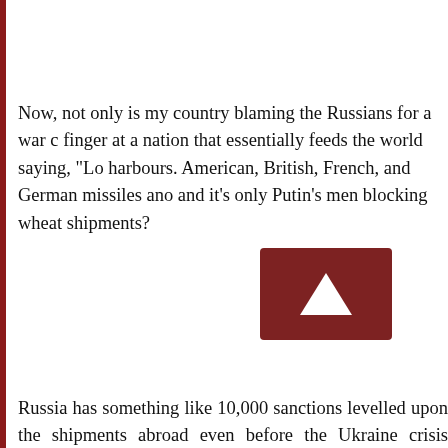Now, not only is my country blaming the Russians for a war c finger at a nation that essentially feeds the world saying, "Lo harbours. American, British, French, and German missiles ano and it's only Putin's men blocking wheat shipments?
[Figure (other): Video thumbnail showing a dark reddish-brown background with an upward-pointing white triangle (play/scroll button)]
Russia has something like 10,000 sanctions levelled upon the shipments abroad even before the Ukraine crisis turned to banking restrictions leveraged against Russian entrepreneur. Secretary of State Antony Blinken says Putin is alone in "we this means is the Biden administration and NATO are just stu pushed too far.
The executive director of the World Food Program has war starvation soon. Gro Intelligence's Merker has synthesized the into a political football: "We cannot solve food insecurity on likely be difficult, we can coordinate a global response."